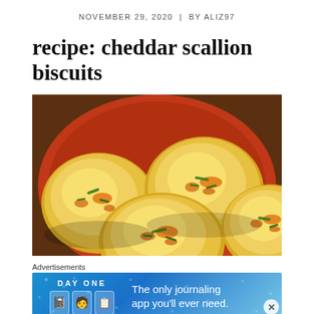NOVEMBER 29, 2020  |  BY ALIZ97
recipe: cheddar scallion biscuits
[Figure (photo): Top-down photo of golden cheddar scallion biscuits served on a red/orange plate. The biscuits are round, fluffy, golden-yellow with visible green scallion pieces and melted orange cheddar cheese on top.]
Advertisements
[Figure (screenshot): Advertisement banner for Day One journaling app. Blue background with star/dot pattern. Left side shows 'DAY ONE' text and three app icons. Right side reads 'The only journaling app you'll ever need.']